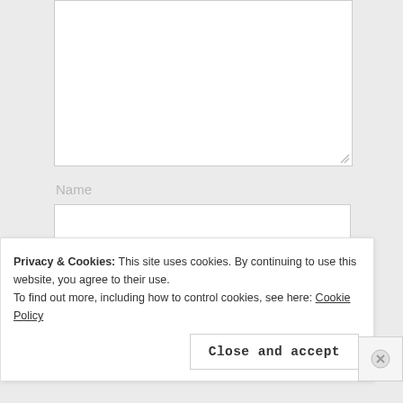[Figure (screenshot): A textarea input field (empty, white background, gray border with resize handle in bottom-right corner)]
Name
[Figure (screenshot): A text input field labeled Name (empty, white background, gray border)]
Email
[Figure (screenshot): A text input field labeled Email (empty, white background, gray border)]
Privacy & Cookies: This site uses cookies. By continuing to use this website, you agree to their use.
To find out more, including how to control cookies, see here: Cookie Policy
Close and accept